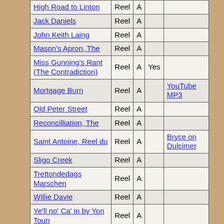| Name | Type | Key | Col4 | Links |
| --- | --- | --- | --- | --- |
| High Road to Linton | Reel | A |  |  |
| Jack Daniels | Reel | A |  |  |
| John Keith Laing | Reel | A |  |  |
| Mason's Apron, The | Reel | A |  |  |
| Miss Gunning's Rant (The Contradiction) | Reel | A | Yes |  |
| Mortgage Burn | Reel | A |  | YouTube MP3 |
| Old Peter Street | Reel | A |  |  |
| Reconcilliation, The | Reel | A |  |  |
| Saint Antoine, Reel du | Reel | A |  | Bryce on Dulcimer |
| Sligo Creek | Reel | A |  |  |
| Trettondedags Marschen | Reel | A |  |  |
| Willie Davie | Reel | A |  |  |
| Ye'll no' Ca' in by Yon Toun | Reel | A |  |  |